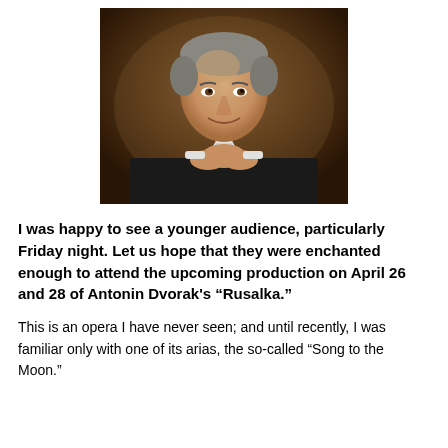[Figure (photo): Professional portrait photo of a middle-aged man with grey hair, wearing a dark suit with white dress shirt, hands clasped together near his chin, smiling, against a dark brown background.]
I was happy to see a younger audience, particularly Friday night. Let us hope that they were enchanted enough to attend the upcoming production on April 26 and 28 of Antonin Dvorak's “Rusalka.”
This is an opera I have never seen; and until recently, I was familiar only with one of its arias, the so-called “Song to the Moon.”